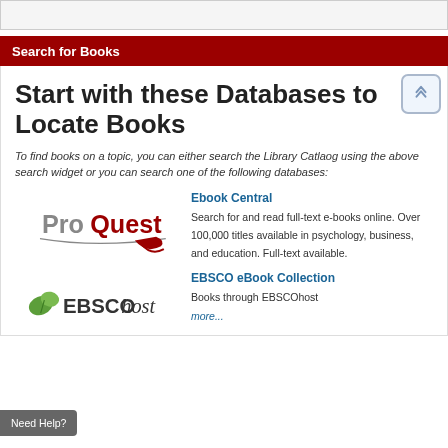Search for Books
Start with these Databases to Locate Books
To find books on a topic, you can either search the Library Catlaog using the above search widget or you can search one of the following databases:
[Figure (logo): ProQuest logo]
Ebook Central
Search for and read full-text e-books online. Over 100,000 titles available in psychology, business, and education. Full-text available.
[Figure (logo): EBSCOhost logo]
EBSCO eBook Collection
Books through EBSCOhost
more...
Need Help?